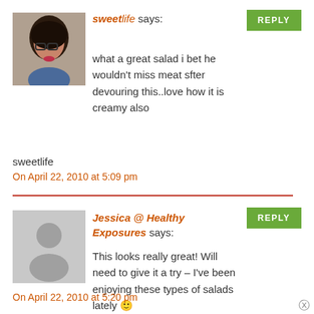[Figure (photo): Profile photo of a woman with glasses and dark curly hair]
sweetlife says:
[Figure (other): Green REPLY button]
what a great salad i bet he wouldn't miss meat sfter devouring this..love how it is creamy also
sweetlife
On April 22, 2010 at 5:09 pm
[Figure (other): Placeholder avatar silhouette]
Jessica @ Healthy Exposures says:
[Figure (other): Green REPLY button]
This looks really great! Will need to give it a try – I've been enjoying these types of salads lately 🙂
On April 22, 2010 at 5:20 pm